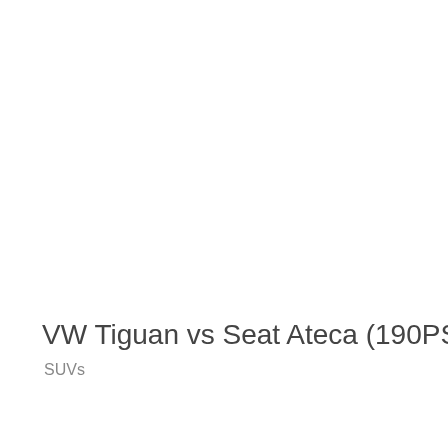VW Tiguan vs Seat Ateca (190PS TDI DSG)
SUVs